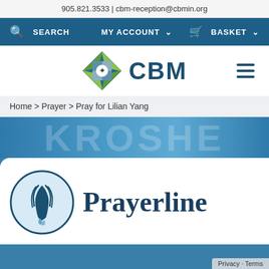905.821.3533 | cbm-reception@cbmin.org
SEARCH  MY ACCOUNT  BASKET
[Figure (logo): CBM logo with decorative geometric/floral icon and CBM text, plus hamburger menu icon]
Home > Prayer > Pray for Lilian Yang
[Figure (illustration): Blue banner with watermark text KROSHE or similar letters in background]
[Figure (logo): Prayerline logo: circular icon with praying hands and the word Prayerline in large serif font]